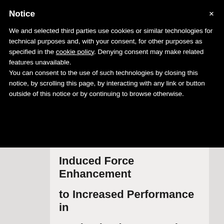Notice
We and selected third parties use cookies or similar technologies for technical purposes and, with your consent, for other purposes as specified in the cookie policy. Denying consent may make related features unavailable.
You can consent to the use of such technologies by closing this notice, by scrolling this page, by interacting with any link or button outside of this notice or by continuing to browse otherwise.
Induced Force Enhancement to Increased Performance in Maximal Voluntary and Submaximal Artificially Activated Stretch-Shortening Muscle Action